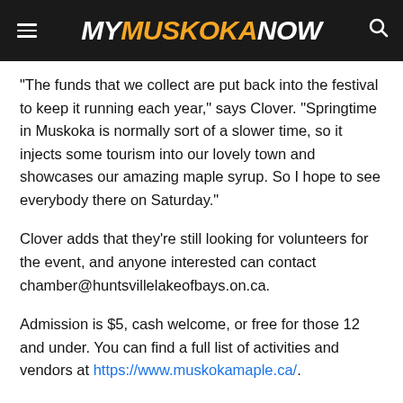MY MUSKOKA NOW
“The funds that we collect are put back into the festival to keep it running each year,” says Clover. “Springtime in Muskoka is normally sort of a slower time, so it injects some tourism into our lovely town and showcases our amazing maple syrup. So I hope to see everybody there on Saturday.”
Clover adds that they’re still looking for volunteers for the event, and anyone interested can contact chamber@huntsvillelakeofbays.on.ca.
Admission is $5, cash welcome, or free for those 12 and under. You can find a full list of activities and vendors at https://www.muskokamaple.ca/.